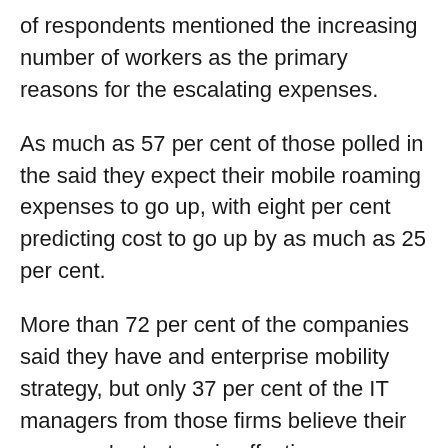of respondents mentioned the increasing number of workers as the primary reasons for the escalating expenses.
As much as 57 per cent of those polled in the said they expect their mobile roaming expenses to go up, with eight per cent predicting cost to go up by as much as 25 per cent.
More than 72 per cent of the companies said they have and enterprise mobility strategy, but only 37 per cent of the IT managers from those firms believe their company's strategy is effective.
The survey also revealed that mobile spending is moving out of the IT department's realm. Less than half (48 per cent) of firms have the IT departments manage the mobile budget while non-IT departments